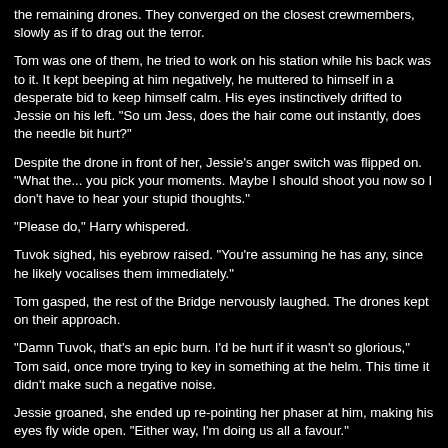the remaining drones. They converged on the closest crewmembers, slowly as if to drag out the terror.
Tom was one of them, he tried to work on his station while his back was to it. It kept beeping at him negatively, he muttered to himself in a desperate bid to keep himself calm. His eyes instinctively drifted to Jessie on his left. "So um Jess, does the hair come out instantly, does the needle bit hurt?"
Despite the drone in front of her, Jessie's anger switch was flipped on. "What the... you pick your moments. Maybe I should shoot you now so I don't have to hear your stupid thoughts."
"Please do," Harry whispered.
Tuvok sighed, his eyebrow raised. "You're assuming he has any, since he likely vocalises them immediately."
Tom gasped, the rest of the Bridge nervously laughed. The drones kept on their approach.
"Damn Tuvok, that's an epic burn. I'd be hurt if it wasn't so glorious," Tom said, once more trying to key in something at the helm. This time it didn't make such a negative noise.
Jessie groaned, she ended up re-pointing her phaser at him, making his eyes fly wide open. "Either way, I'm doing us all a favour."
"We are the Borg. Your biological and technological distinctiveness will be added to our own. Resistance is futile, you pesky meddlers." Everyone's fearful expressions turned into puzzled frowns. "Oh we'll see you soon